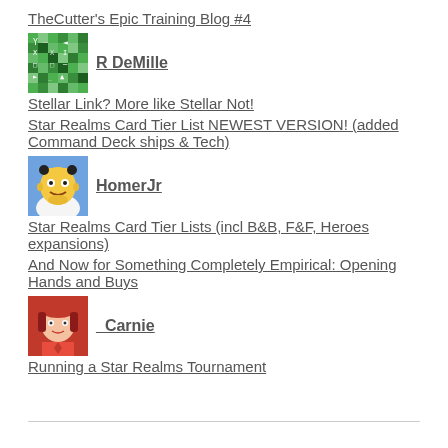TheCutter's Epic Training Blog #4
[Figure (illustration): Green pixel/mosaic avatar icon for R DeMille]
R DeMille
Stellar Link? More like Stellar Not!
Star Realms Card Tier List NEWEST VERSION! (added Command Deck ships & Tech)
[Figure (illustration): Homer Simpson avatar image for HomerJr]
HomerJr
Star Realms Card Tier Lists (incl B&B, F&F, Heroes expansions)
And Now for Something Completely Empirical: Opening Hands and Buys
[Figure (illustration): Red-toned anime-style avatar for Carnie]
Carnie
Running a Star Realms Tournament